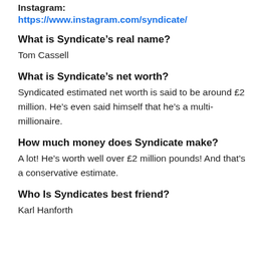Instagram:
https://www.instagram.com/syndicate/
What is Syndicate's real name?
Tom Cassell
What is Syndicate's net worth?
Syndicated estimated net worth is said to be around £2 million. He's even said himself that he's a multi-millionaire.
How much money does Syndicate make?
A lot! He's worth well over £2 million pounds! And that's a conservative estimate.
Who Is Syndicates best friend?
Karl Hanforth